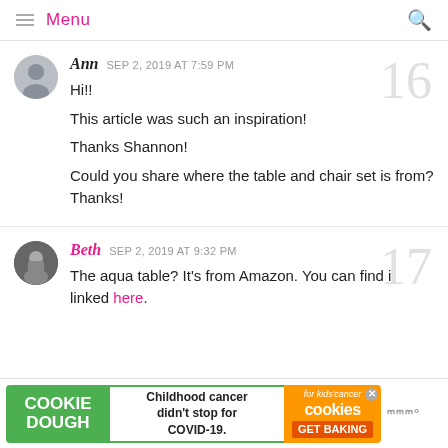Menu
Ann SEP 2, 2019 AT 7:59 PM
Hi!!
This article was such an inspiration!
Thanks Shannon!
Could you share where the table and chair set is from? Thanks!
Beth SEP 2, 2019 AT 9:32 PM
The aqua table? It's from Amazon. You can find it linked here.
[Figure (infographic): Cookie Dough advertisement banner: Childhood cancer didn't stop for COVID-19. Cookies for kids cancer GET BAKING.]